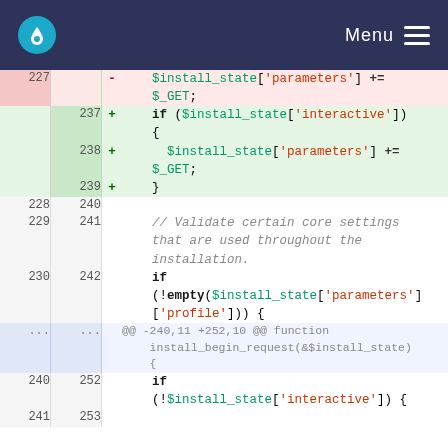Menu
[Figure (screenshot): Git diff view showing PHP code changes. Deleted lines (red): line 227 removes $install_state['parameters'] += $_GET. Added lines (green): lines 237-239 wrap the same assignment in an if ($install_state['interactive']) { ... } block. Context lines 228-230/240-242 show surrounding code including a comment about validating core settings and an if (!empty(...)) check. A hunk header shows @@ -240,11 +252,10 @@ function install_begin_request(&$install_state) {. Lines 240/252 show if (!$install_state['interactive']) {.]